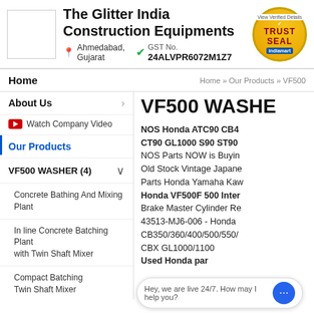The Glitter India Construction Equipments
Ahmedabad, Gujarat | GST No. 24ALVPR6072M1Z7
[Figure (logo): IndiaMART Trust Seal badge - circular gold badge with checkmark and text TRUST SEAL indiamart]
Home | Home » Our Products » VF500
About Us
Watch Company Video
Our Products
VF500 WASHER (4)
Concrete Bathing And Mixing Plant
In line Concrete Batching Plant with Twin Shaft Mixer
Compact Batching Twin Shaft Mixer
VF500 WASHE
NOS Honda ATC90 CB4 CT90 GL1000 S90 ST90 NOS Parts NOW is Buying Old Stock Vintage Japanese Parts Honda Yamaha Kawasaki Honda VF500F 500 Interceptor Brake Master Cylinder Re 43513-MJ6-006 - Honda CB350/360/400/500/550/ CBX GL1000/1100 Used Honda parts largest used parts Order your Pan European
Hey, we are live 24/7. How may I help you?